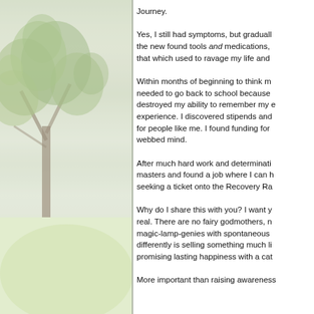[Figure (photo): Left half of page showing a nature scene with a tree with green leaves in the upper portion and a misty green meadow/grass in the lower portion, with a light foggy background.]
Journey.

Yes, I still had symptoms, but gradually the new found tools and medications, that which used to ravage my life and

Within months of beginning to think me needed to go back to school because destroyed my ability to remember my experience. I discovered stipends and for people like me. I found funding for webbed mind.

After much hard work and determination masters and found a job where I can h seeking a ticket onto the Recovery Ra

Why do I share this with you? I want y real. There are no fairy godmothers, n magic-lamp-genies with spontaneous differently is selling something much li promising lasting happiness with a cat

More important than raising awareness